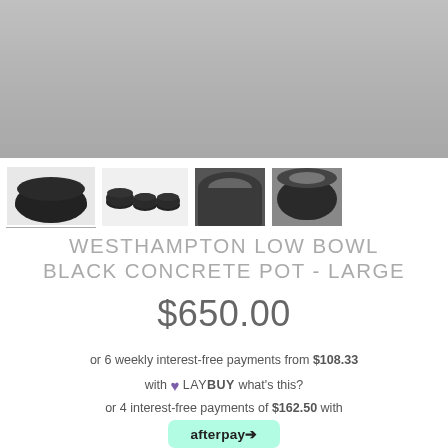[Figure (photo): Main product image area - light gray background, top portion of black concrete bowl pot visible]
[Figure (photo): Row of four product thumbnail images showing Westhampton Low Bowl Black Concrete Pot from different angles]
WESTHAMPTON LOW BOWL BLACK CONCRETE POT - LARGE
$650.00
or 6 weekly interest-free payments from $108.33 with ♥ LAY BUY what's this?
or 4 interest-free payments of $162.50 with
[Figure (logo): Afterpay logo button in green/teal color]